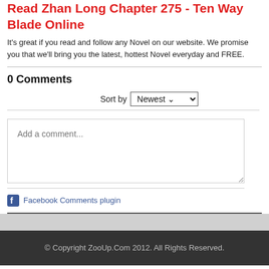Read Zhan Long Chapter 275 - Ten Way Blade Online
It's great if you read and follow any Novel on our website. We promise you that we'll bring you the latest, hottest Novel everyday and FREE.
0 Comments
Sort by Newest
Add a comment...
Facebook Comments plugin
© Copyright ZooUp.Com 2012. All Rights Reserved.